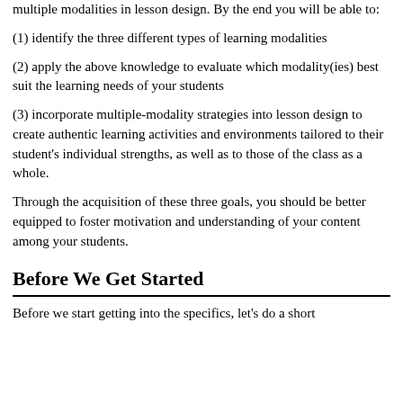multiple modalities in lesson design. By the end you will be able to:
(1) identify the three different types of learning modalities
(2) apply the above knowledge to evaluate which modality(ies) best suit the learning needs of your students
(3) incorporate multiple-modality strategies into lesson design to create authentic learning activities and environments tailored to their student's individual strengths, as well as to those of the class as a whole.
Through the acquisition of these three goals, you should be better equipped to foster motivation and understanding of your content among your students.
Before We Get Started
Before we start getting into the specifics, let's do a short